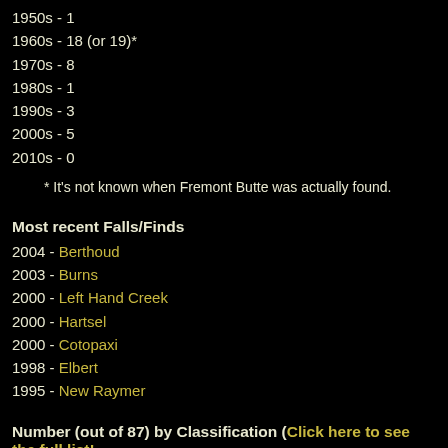1950s - 1
1960s - 18 (or 19)*
1970s - 8
1980s - 1
1990s - 3
2000s - 5
2010s - 0
* It's not known when Fremont Butte was actually found.
Most recent Falls/Finds
2004 - Berthoud
2003 - Burns
2000 - Left Hand Creek
2000 - Hartsel
2000 - Cotopaxi
1998 - Elbert
1995 - New Raymer
Number (out of 87) by Classification (Click here to see the full list!)
Stony = 68 (78.2%)
  Achondrites = 2 (2.3%)
    Diogenites = 1 (1.1%)
    Eucrites = 1 (1.1%)

  Chondrites = 66 (75.9%)